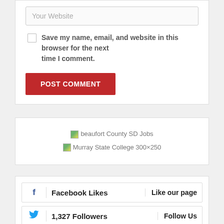Your Website
Save my name, email, and website in this browser for the next time I comment.
POST COMMENT
[Figure (screenshot): Broken image placeholder for Beaufort County SD Jobs]
[Figure (screenshot): Broken image placeholder for Murray State College 300x250]
Facebook Likes | Like our page
1,327 Followers | Follow Us